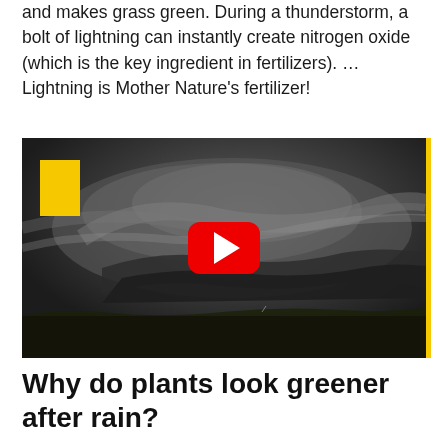and makes grass green. During a thunderstorm, a bolt of lightning can instantly create nitrogen oxide (which is the key ingredient in fertilizers). ... Lightning is Mother Nature's fertilizer!
[Figure (screenshot): A National Geographic YouTube video thumbnail showing a dramatic supercell thunderstorm with swirling dark clouds over a flat green landscape. A yellow National Geographic logo rectangle is in the upper left corner, and a red YouTube play button is centered on the image.]
Why do plants look greener after rain?